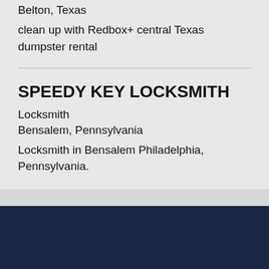Belton, Texas
clean up with Redbox+ central Texas dumpster rental
SPEEDY KEY LOCKSMITH
Locksmith
Bensalem, Pennsylvania
Locksmith in Bensalem Philadelphia, Pennsylvania.
Business Listings